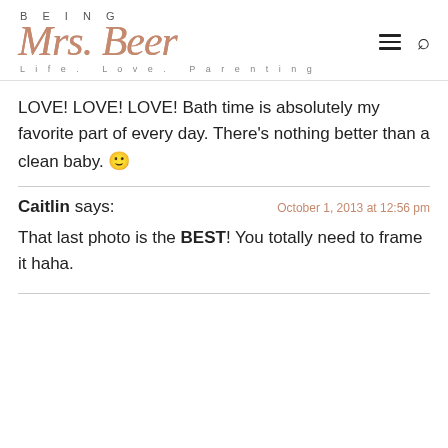BEING Mrs. Beer Life. Love. Parenting
LOVE! LOVE! LOVE! Bath time is absolutely my favorite part of every day. There's nothing better than a clean baby. 🙂
Caitlin says: — October 1, 2013 at 12:56 pm
That last photo is the BEST! You totally need to frame it haha.